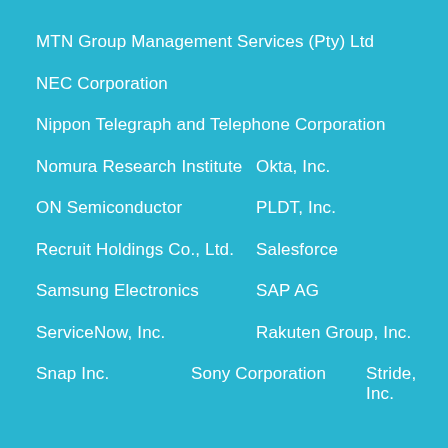MTN Group Management Services (Pty) Ltd
NEC Corporation
Nippon Telegraph and Telephone Corporation
Nomura Research Institute    Okta, Inc.
ON Semiconductor    PLDT, Inc.
Recruit Holdings Co., Ltd.    Salesforce
Samsung Electronics    SAP AG
ServiceNow, Inc.    Rakuten Group, Inc.
Snap Inc.    Sony Corporation    Stride, Inc.